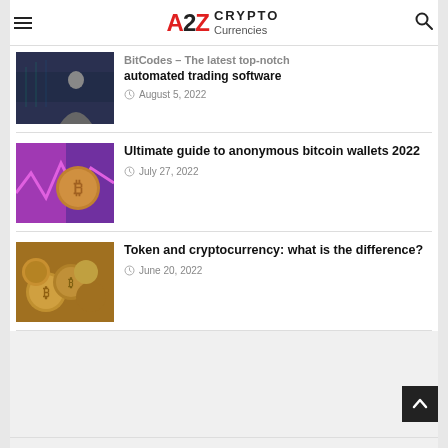A2Z CRYPTO Currencies
BitCodes – The latest top-notch automated trading software
August 5, 2022
[Figure (photo): Person sitting at trading screens]
Ultimate guide to anonymous bitcoin wallets 2022
July 27, 2022
[Figure (photo): Bitcoin coin with chart background]
Token and cryptocurrency: what is the difference?
June 20, 2022
[Figure (photo): Gold cryptocurrency coins pile]